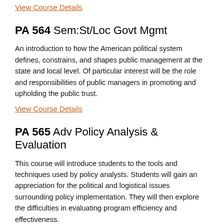View Course Details
PA 564 Sem:St/Loc Govt Mgmt
An introduction to how the American political system defines, constrains, and shapes public management at the state and local level. Of particular interest will be the role and responsibilities of public managers in promoting and upholding the public trust.
View Course Details
PA 565 Adv Policy Analysis & Evaluation
This course will introduce students to the tools and techniques used by policy analysts. Students will gain an appreciation for the political and logistical issues surrounding policy implementation. They will then explore the difficulties in evaluating program efficiency and effectiveness.
View Course Details
PA 566 Econ Dev:Theory/Practice
This course...